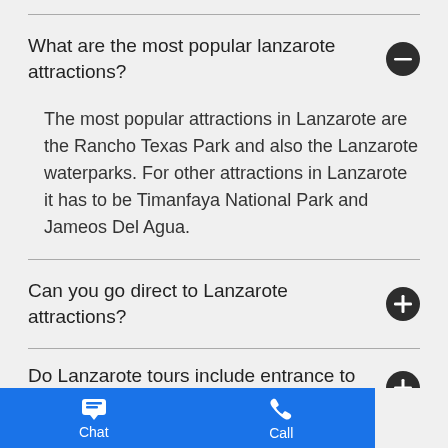What are the most popular lanzarote attractions?
The most popular attractions in Lanzarote are the Rancho Texas Park and also the Lanzarote waterparks. For other attractions in Lanzarote it has to be Timanfaya National Park and Jameos Del Agua.
Can you go direct to Lanzarote attractions?
Do Lanzarote tours include entrance to all the Lanzarote attractions?
How can you see all the Lanzarote attractions?